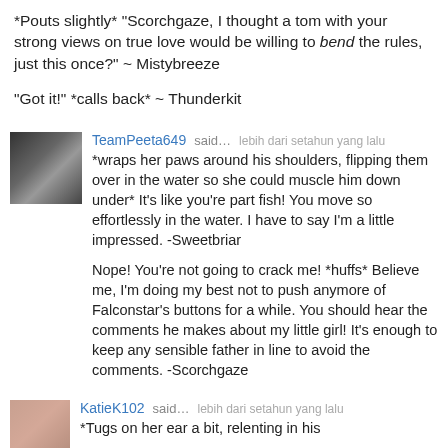*Pouts slightly* "Scorchgaze, I thought a tom with your strong views on true love would be willing to bend the rules, just this once?" ~ Mistybreeze
"Got it!" *calls back* ~ Thunderkit
TeamPeeta649 said… lebih dari setahun yang lalu
*wraps her paws around his shoulders, flipping them over in the water so she could muscle him down under* It's like you're part fish! You move so effortlessly in the water. I have to say I'm a little impressed. -Sweetbriar

Nope! You're not going to crack me! *huffs* Believe me, I'm doing my best not to push anymore of Falconstar's buttons for a while. You should hear the comments he makes about my little girl! It's enough to keep any sensible father in line to avoid the comments. -Scorchgaze
KatieK102 said… lebih dari setahun yang lalu
*Tugs on her ear a bit, relenting in his